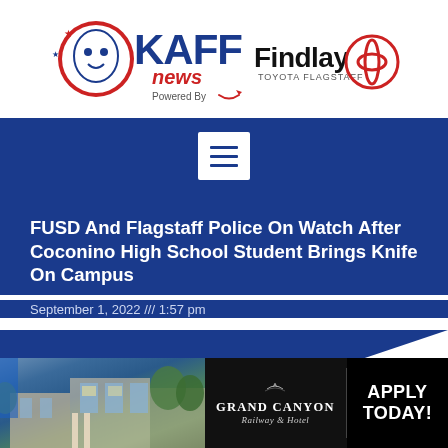[Figure (logo): KAFF News logo with cartoon character and 'Powered By' text alongside Findlay Toyota Flagstaff logo]
[Figure (other): Navigation bar with hamburger menu button on blue background]
FUSD And Flagstaff Police On Watch After Coconino High School Student Brings Knife On Campus
September 1, 2022 /// 1:57 pm
[Figure (photo): Grand Canyon Railway & Hotel advertisement banner with hotel exterior photo and 'APPLY TODAY!' call to action]